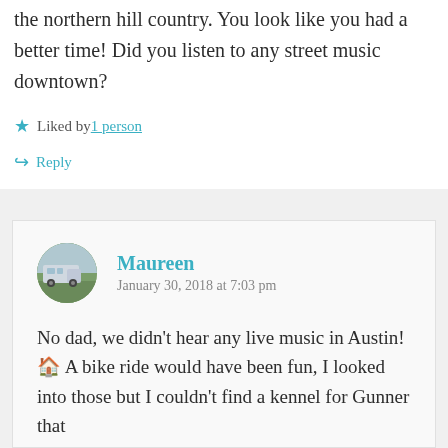the northern hill country. You look like you had a better time! Did you listen to any street music downtown?
Liked by 1 person
Reply
Maureen
January 30, 2018 at 7:03 pm
No dad, we didn't hear any live music in Austin! 🏠 A bike ride would have been fun, I looked into those but I couldn't find a kennel for Gunner that